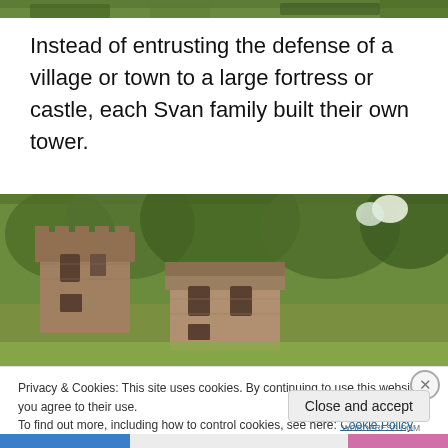[Figure (photo): Partial view of a green forested hillside, top strip of image visible at top of page]
Instead of entrusting the defense of a village or town to a large fortress or castle, each Svan family built their own tower.
[Figure (photo): Two ancient stone Svan towers against a forested green hillside]
Privacy & Cookies: This site uses cookies. By continuing to use this website, you agree to their use.
To find out more, including how to control cookies, see here: Cookie Policy
Close and accept